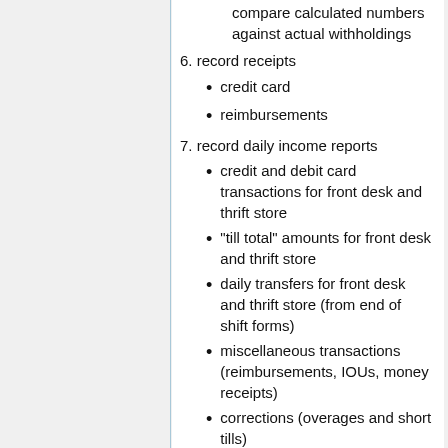compare calculated numbers against actual withholdings
6. record receipts
credit card
reimbursements
7. record daily income reports
credit and debit card transactions for front desk and thrift store
"till total" amounts for front desk and thrift store
daily transfers for front desk and thrift store (from end of shift forms)
miscellaneous transactions (reimbursements, IOUs, money receipts)
corrections (overages and short tills)